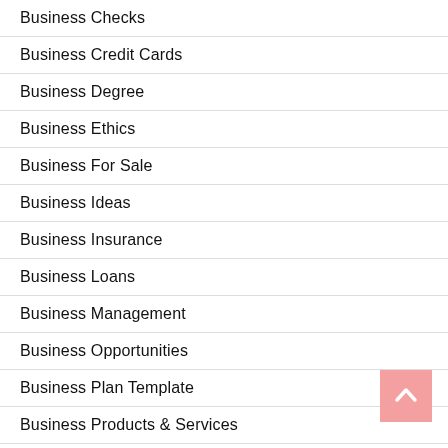Business Checks
Business Credit Cards
Business Degree
Business Ethics
Business For Sale
Business Ideas
Business Insurance
Business Loans
Business Management
Business Opportunities
Business Plan Template
Business Products & Services
Business School
Business Week